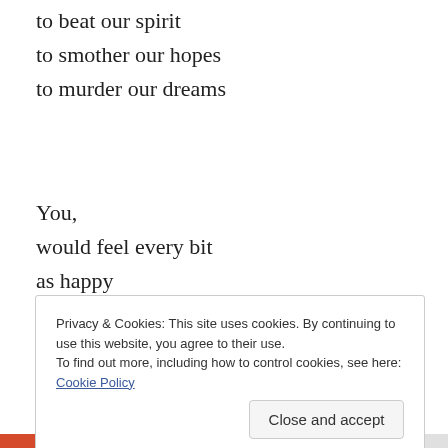to beat our spirit
to smother our hopes
to murder our dreams
You,
would feel every bit
as happy
as thankful
Privacy & Cookies: This site uses cookies. By continuing to use this website, you agree to their use.
To find out more, including how to control cookies, see here: Cookie Policy
Close and accept